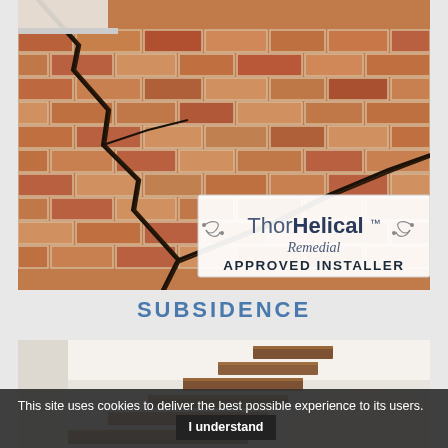[Figure (photo): Close-up photo of a cracked brick wall showing significant structural damage with diagonal cracks running across the brickwork. A ThorHelical Remedial Approved Installer badge/logo is overlaid on the lower right portion of the image, showing the ThorHelical brand name with decorative flourishes.]
SUBSIDENCE
[Figure (photo): Interior photo showing a floating wooden staircase with modern design, light wood treads, white walls and ceiling with natural lighting.]
This site uses cookies to deliver the best possible experience to its users. I understand